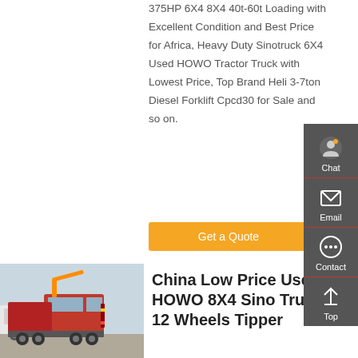375HP 6X4 8X4 40t-60t Loading with Excellent Condition and Best Price for Africa, Heavy Duty Sinotruck 6X4 Used HOWO Tractor Truck with Lowest Price, Top Brand Heli 3-7ton Diesel Forklift Cpcd30 for Sale and so on.
Get a Quote
[Figure (photo): Red HOWO 8X4 Sino Truck heavy tipper/dump truck parked in a lot with other trucks visible in background]
China Low Price Used HOWO 8X4 Sino Truck 12 Wheels Tipper